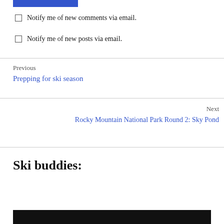Notify me of new comments via email.
Notify me of new posts via email.
Previous
Prepping for ski season
Next
Rocky Mountain National Park Round 2: Sky Pond
Ski buddies: